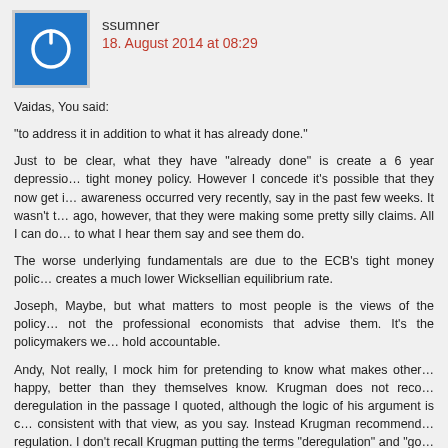[Figure (other): Blue square avatar icon with a power/circle symbol in white]
ssumner
18. August 2014 at 08:29
Vaidas, You said:
“to address it in addition to what it has already done.”
Just to be clear, what they have “already done” is create a 6 year depression with tight money policy. However I concede it’s possible that they now get it, if that awareness occurred very recently, say in the past few weeks. It wasn’t that long ago, however, that they were making some pretty silly claims. All I can do is react to what I hear them say and see them do.
The worse underlying fundamentals are due to the ECB’s tight money policy, which creates a much lower Wicksellian equilibrium rate.
Joseph, Maybe, but what matters to most people is the views of the policymakers, not the professional economists that advise them. It’s the policymakers we hold accountable.
Andy, Not really, I mock him for pretending to know what makes other people happy, better than they themselves know. Krugman does not recommend deregulation in the passage I quoted, although the logic of his argument is clearly consistent with that view, as you say. Instead Krugman recommends re-regulation. I don’t recall Krugman putting the terms “deregulation” and “good idea” in the same sentence for at least a decade. When he starts advocating deregulation I will praise him. Until then I’ll praise Yglesias, who isn’t reluctant to admit that deregulation is often a good idea.